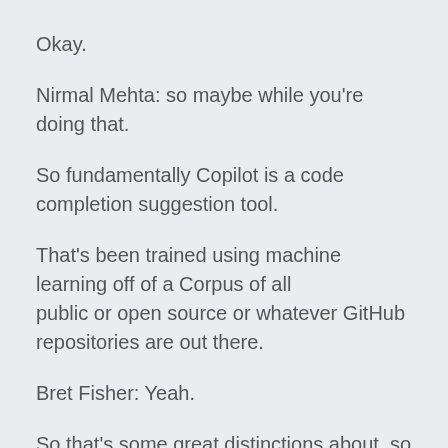Okay.
Nirmal Mehta: so maybe while you're doing that.
So fundamentally Copilot is a code completion suggestion tool.
That's been trained using machine learning off of a Corpus of all public or open source or whatever GitHub repositories are out there.
Bret Fisher: Yeah.
So that's some great distinctions about, so there's all these great questions on their FAQ which you can just use it.
You can see at copilot.Github.com, but yeah it's only on